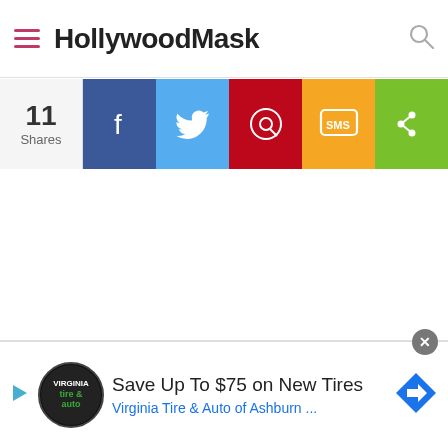HollywoodMask
[Figure (screenshot): Social share bar with share count (11 Shares), Facebook, Twitter, Pinterest, SMS, and More buttons]
[Figure (infographic): Advertisement banner: Save Up To $75 on New Tires - Virginia Tire & Auto of Ashburn ...]